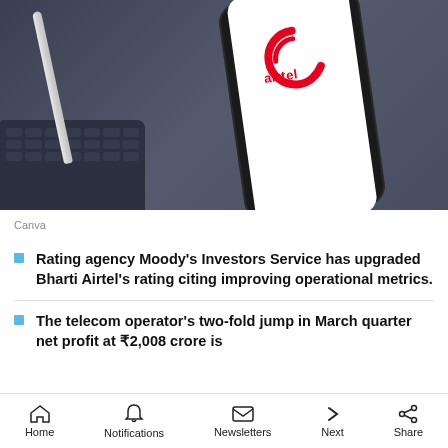[Figure (photo): Smartphone displaying Airtel logo on white screen, placed on dark slate background with stylus and keyboard visible]
Canva
Rating agency Moody's Investors Service has upgraded Bharti Airtel's rating citing improving operational metrics.
The telecom operator's two-fold jump in March quarter net profit at ₹2,008 crore is
Home  Notifications  Newsletters  Next  Share